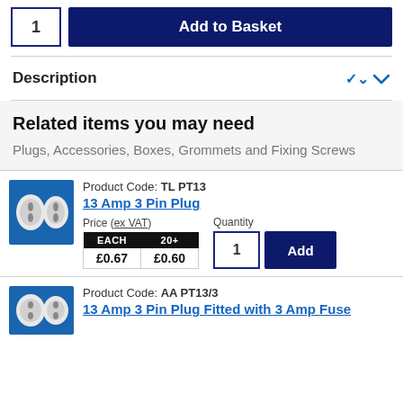[Figure (other): Quantity input box showing '1' and 'Add to Basket' dark navy button]
Description
Related items you may need
Plugs, Accessories, Boxes, Grommets and Fixing Screws
[Figure (photo): Photo of 13 Amp 3 Pin Plug product]
Product Code: TL PT13
13 Amp 3 Pin Plug
| EACH | 20+ |
| --- | --- |
| £0.67 | £0.60 |
[Figure (photo): Photo of 13 Amp 3 Pin Plug Fitted with 3 Amp Fuse product]
Product Code: AA PT13/3
13 Amp 3 Pin Plug Fitted with 3 Amp Fuse